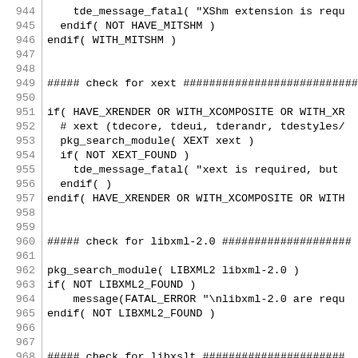Code listing lines 944-973, CMake build script
944:     tde_message_fatal( "XShm extension is requ
945:   endif( NOT HAVE_MITSHM )
946: endif( WITH_MITSHM )
947:
948:
949: ##### check for xext ###########################
950:
951: if( HAVE_XRENDER OR WITH_XCOMPOSITE OR WITH_XR
952:   # xext (tdecore, tdeui, tderandr, tdestyles/
953:   pkg_search_module( XEXT xext )
954:   if( NOT XEXT_FOUND )
955:     tde_message_fatal( "xext is required, but
956:   endif( )
957: endif( HAVE_XRENDER OR WITH_XCOMPOSITE OR WITH
958:
959:
960: ##### check for libxml-2.0 ####################
961:
962: pkg_search_module( LIBXML2 libxml-2.0 )
963: if( NOT LIBXML2_FOUND )
964:     message(FATAL_ERROR "\nlibxml-2.0 are requ
965: endif( NOT LIBXML2_FOUND )
966:
967:
968: ##### check for libxslt ######################
969:
970: pkg_search_module( LIBXSLT libxslt )
971: if( NOT LIBXSLT_FOUND )
972:     message(FATAL_ERROR "\nlibxslt are require
973: endif( NOT LIBXSLT_FOUND )